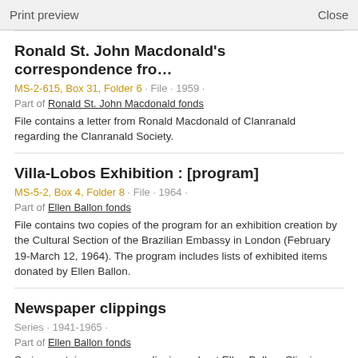Print preview   Close
Ronald St. John Macdonald's correspondence fro…
MS-2-615, Box 31, Folder 6 · File · 1959 ·
Part of Ronald St. John Macdonald fonds
File contains a letter from Ronald Macdonald of Clanranald regarding the Clanranald Society.
Villa-Lobos Exhibition : [program]
MS-5-2, Box 4, Folder 8 · File · 1964 ·
Part of Ellen Ballon fonds
File contains two copies of the program for an exhibition creation by the Cultural Section of the Brazilian Embassy in London (February 19-March 12, 1964). The program includes lists of exhibited items donated by Ellen Ballon.
Newspaper clippings
Series · 1941-1965 ·
Part of Ellen Ballon fonds
Series contains newspaper clippings about Ellen Ballon. Clippings include articles about a variety of subjects, including Ellen Ballon's life